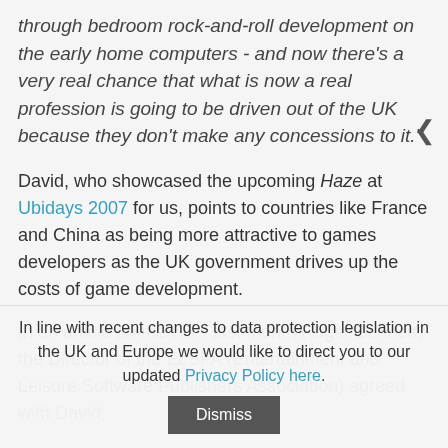through bedroom rock-and-roll development on the early home computers - and now there's a very real chance that what is now a real profession is going to be driven out of the UK because they don't make any concessions to it."
David, who showcased the upcoming Haze at Ubidays 2007 for us, points to countries like France and China as being more attractive to games developers as the UK government drives up the costs of game development.
In an article on the BBC last month Roger Bennett, the Director of the ELSPA (Entertainment and Leisure Software Publishers Association) agreed with David;
"Our greatest asset is our creativity and in recent times
In line with recent changes to data protection legislation in the UK and Europe we would like to direct you to our updated Privacy Policy here.